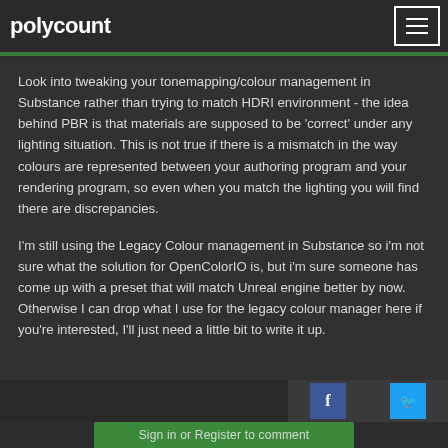polycount
Look into tweaking your tonemapping/colour management in Substance rather than trying to match HDRI environment - the idea behind PBR is that materials are supposed to be 'correct' under any lighting situation. This is not true if there is a mismatch in the way colours are represented between your authoring program and your rendering program, so even when you match the lighting you will find there are discrepancies.
I'm still using the Legacy Colour management in Substance so i'm not sure what the solution for OpenColorIO is, but i'm sure someone has come up with a preset that will match Unreal engine better by now. Otherwise I can drop what I use for the legacy colour manager here if you're interested, I'll just need a little bit to write it up.
Sign in or Register to comment